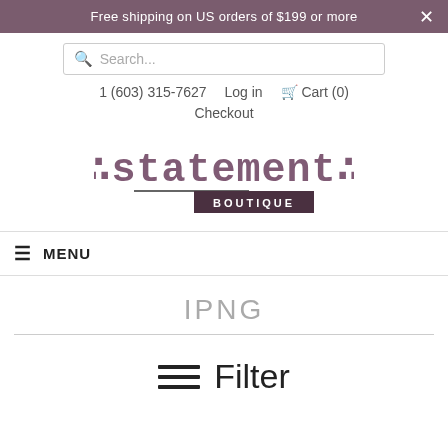Free shipping on US orders of $199 or more
Search...
1 (603) 315-7627   Log in   Cart (0)   Checkout
[Figure (logo): Statement Boutique logo with dotted stylized text and BOUTIQUE in a dark box]
MENU
IPNG
Filter